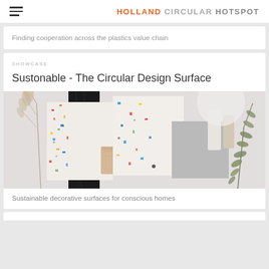HOLLAND CIRCULAR HOTSPOT
Finding cooperation across the plastics value chain
SHOWCASE
Sustonable - The Circular Design Surface
[Figure (photo): Flat lay photo of circular design surface material samples including terrazzo tiles with colorful speckles, black marble panel, natural wood block, grey stone tile, and olive branch on light grey background]
Sustainable decorative surfaces for conscious homes